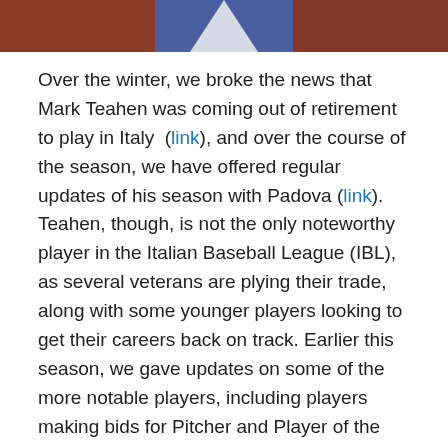[Figure (photo): Cropped photo showing a person in a blue baseball uniform/jersey with a reddish-brown background, only the lower torso area visible.]
Over the winter, we broke the news that Mark Teahen was coming out of retirement to play in Italy (link), and over the course of the season, we have offered regular updates of his season with Padova (link). Teahen, though, is not the only noteworthy player in the Italian Baseball League (IBL), as several veterans are plying their trade, along with some younger players looking to get their careers back on track. Earlier this season, we gave updates on some of the more notable players, including players making bids for Pitcher and Player of the Year (link). With the regular season concluding last weekend, we review their efforts to date.
The star import for the 2017 IBL season was expected to be Teahen, arguably the most famous former big leaguer